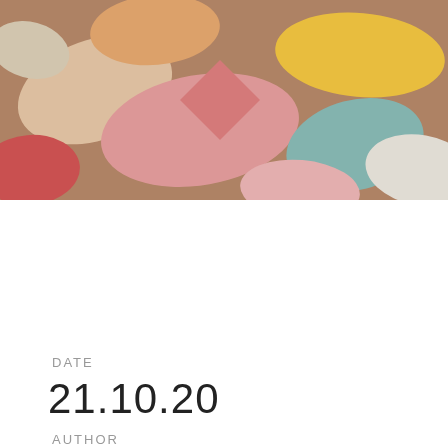[Figure (photo): Close-up photograph of assorted colorful pharmaceutical pills and tablets — pink, peach, yellow, teal, white, red, orange — scattered on a surface, filling the upper portion of the page.]
DATE
21.10.20
AUTHOR